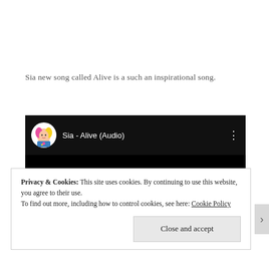Sia new song called Alive is a such an inspirational song.
[Figure (screenshot): YouTube video embed showing 'Sia - Alive (Audio)' with the Sia avatar circle on the left and chalk-style 'Sia' text on a black background video frame.]
Privacy & Cookies: This site uses cookies. By continuing to use this website, you agree to their use. To find out more, including how to control cookies, see here: Cookie Policy
Close and accept